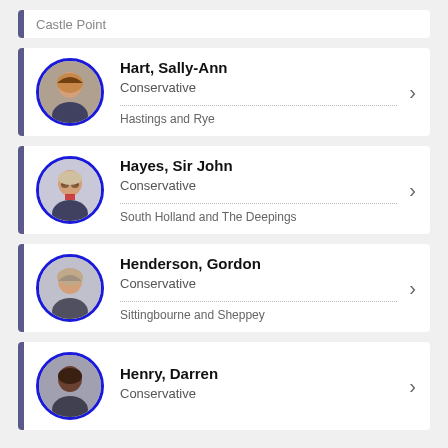Castle Point (truncated top)
Hart, Sally-Ann — Conservative — Hastings and Rye
Hayes, Sir John — Conservative — South Holland and The Deepings
Henderson, Gordon — Conservative — Sittingbourne and Sheppey
Henry, Darren — Conservative